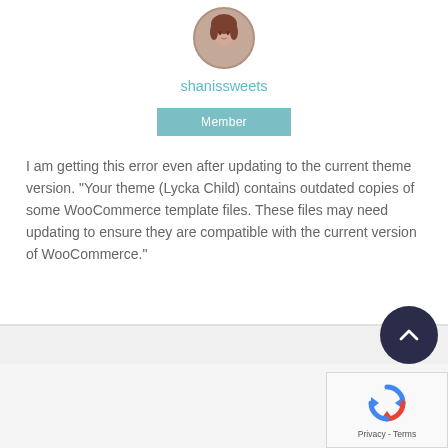[Figure (photo): Circular profile photo of a woman with brown hair against white background]
shanissweets
Member
I am getting this error even after updating to the current theme version. “Your theme (Lycka Child) contains outdated copies of some WooCommerce template files. These files may need updating to ensure they are compatible with the current version of WooCommerce.”
You must be logged in to reply in this thread.
Privacy - Terms